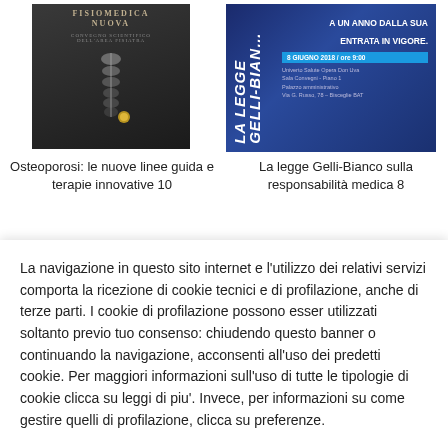[Figure (illustration): Book cover for 'Fisiomedica Nuova' with dark background and spine/vertebra image]
[Figure (illustration): Event banner for 'La Legge Gelli-Bianco' conference on medical liability, dated 8 Giugno 2018]
Osteoporosi: le nuove linee guida e terapie innovative 10
La legge Gelli-Bianco sulla responsabilità medica 8
La navigazione in questo sito internet e l'utilizzo dei relativi servizi comporta la ricezione di cookie tecnici e di profilazione, anche di terze parti. I cookie di profilazione possono esser utilizzati soltanto previo tuo consenso: chiudendo questo banner o continuando la navigazione, acconsenti all'uso dei predetti cookie. Per maggiori informazioni sull'uso di tutte le tipologie di cookie clicca su leggi di piu'. Invece, per informazioni su come gestire quelli di profilazione, clicca su preferenze.
Preferenze
Accetta tutto
Leggi di piu